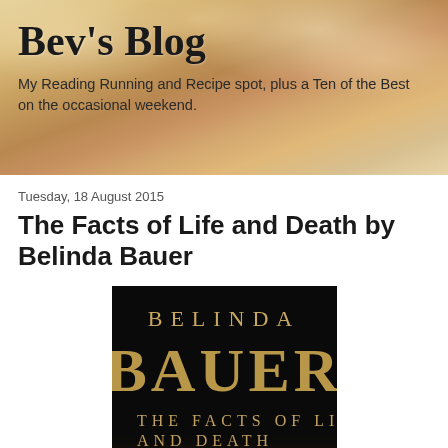Bev's Blog
My Reading Running and Recipe spot, plus a Ten of the Best on the occasional weekend.
Tuesday, 18 August 2015
The Facts of Life and Death by Belinda Bauer
[Figure (illustration): Book cover of 'The Facts of Life and Death' by Belinda Bauer. Black background with golden/tan text reading 'BELINDA BAUER' at top and 'THE FACTS OF LIFE AND DEATH' in smaller text below. A silhouette of a person standing in a misty/foggy landscape at the bottom.]